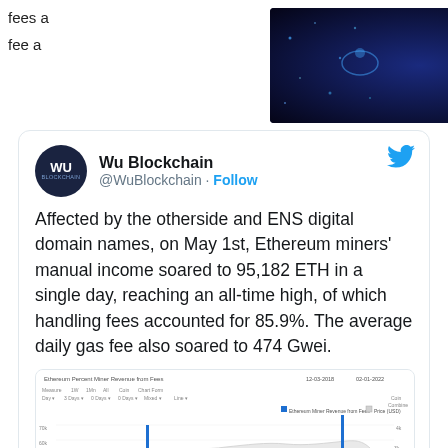fees a
fee a
[Figure (screenshot): Advertisement banner: NEW CRYPTO TECHNOLOGY - CROSS STAKING DAILY AND HIGH REWARDS, with Ads label and close button]
[Figure (screenshot): Tweet card from Wu Blockchain (@WuBlockchain) with Follow button and Twitter bird logo. Content: Affected by the otherside and ENS digital domain names, on May 1st, Ethereum miners' manual income soared to 95,182 ETH in a single day, reaching an all-time high, of which handling fees accounted for 85.9%. The average daily gas fee also soared to 474 Gwei. Includes a chart showing Ethereum miner revenue from fees and price over time.]